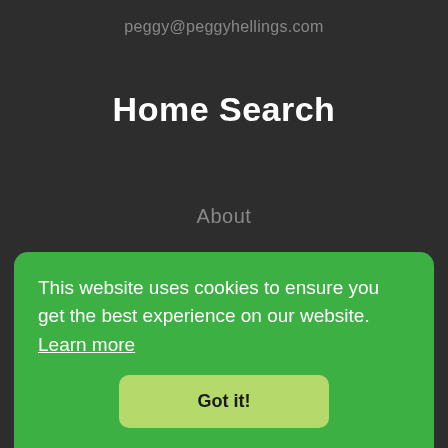peggy@peggyhellings.com
Home Search
About
Our Listings
Our Sold Listings
Contact
This website uses cookies to ensure you get the best experience on our website. Learn more
Got it!